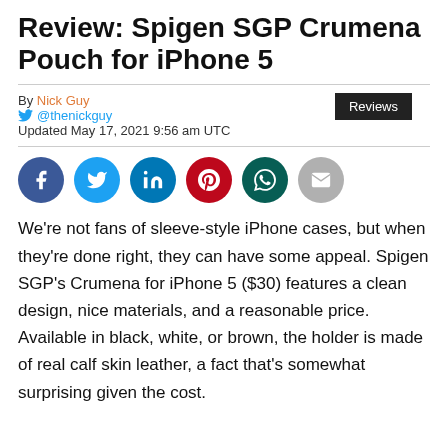Review: Spigen SGP Crumena Pouch for iPhone 5
By Nick Guy
@thenickguy
Updated May 17, 2021 9:56 am UTC
[Figure (infographic): Social sharing icons: Facebook (blue), Twitter (light blue), LinkedIn (blue), Pinterest (red), WhatsApp (green), Email (grey)]
We're not fans of sleeve-style iPhone cases, but when they're done right, they can have some appeal. Spigen SGP's Crumena for iPhone 5 ($30) features a clean design, nice materials, and a reasonable price. Available in black, white, or brown, the holder is made of real calf skin leather, a fact that's somewhat surprising given the cost.